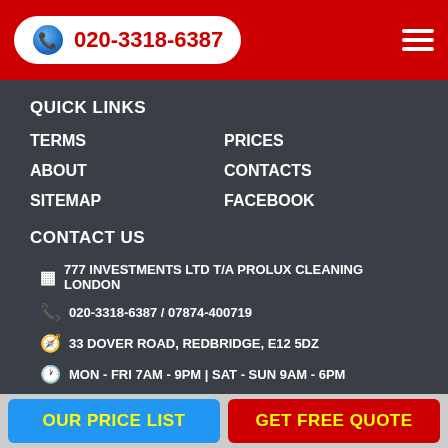020-3318-6387
QUICK LINKS
TERMS
PRICES
ABOUT
CONTACTS
SITEMAP
FACEBOOK
CONTACT US
777 INVESTMENTS LTD T/A PROLUX CLEANING LONDON
020-3318-6387 / 07874-400719
33 DOVER ROAD, REDBRIDGE, E12 5DZ
MON - FRI 7AM - 9PM | SAT - SUN 9AM - 6PM
OUR PRICE LIST | GET FREE QUOTE